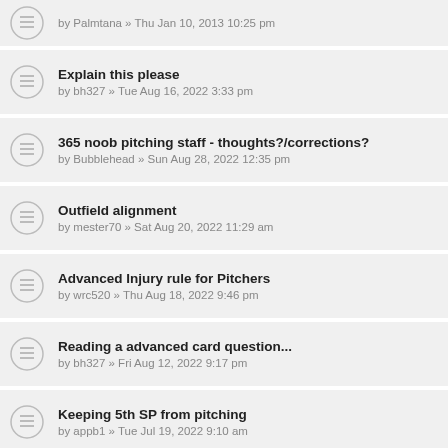by Palmtana » Thu Jan 10, 2013 10:25 pm
Explain this please
by Bunze0 » Tue Aug 16, 2022 3:33 pm
365 noob pitching staff - thoughts?/corrections?
by Bubblehead » Sun Aug 28, 2022 12:35 pm
Outfield alignment
by mester70 » Sat Aug 20, 2022 11:29 am
Advanced Injury rule for Pitchers
by wrc520 » Thu Aug 18, 2022 9:46 pm
Reading a advanced card question...
by bh327 » Fri Aug 12, 2022 9:17 pm
Keeping 5th SP from pitching
by appb1 » Tue Jul 19, 2022 9:10 am
Wavier Wire Question...
by bh327 » Mon Aug 08, 2022 5:36 pm
Free Agent Drop Question...
by bh327 » Sat Jul 30, 2022 8:09 pm
Stealing 3rd??
by frozenrope351 » Fri Jul 29, 2022 10:08 am